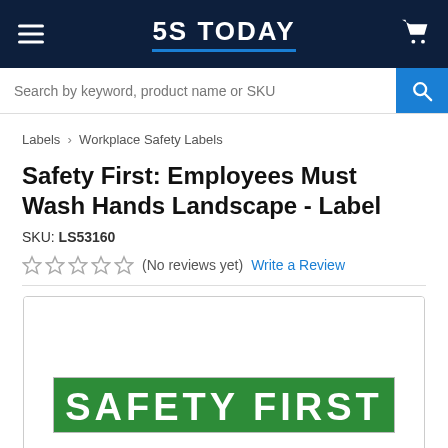5S TODAY
Search by keyword, product name or SKU
Labels > Workplace Safety Labels
Safety First: Employees Must Wash Hands Landscape - Label
SKU: LS53160
★★★★★ (No reviews yet) Write a Review
[Figure (photo): Product image box showing bottom portion of a green Safety First label with white text beginning with 'SAFETY FIRST']